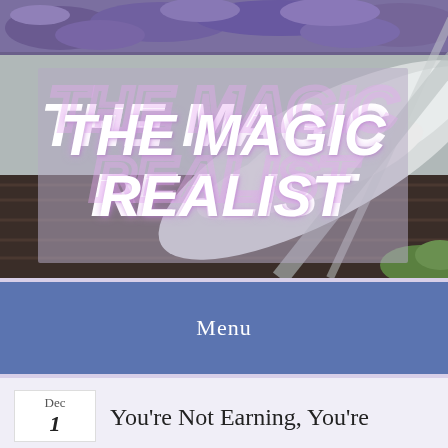[Figure (photo): Header photo showing lavender flowers and a white feather/book on a dark wooden background, with a semi-transparent overlay box containing the blog title THE MAGIC REALIST in white italic bold text]
THE MAGIC REALIST
Menu
Dec
1
You're Not Earning, You're